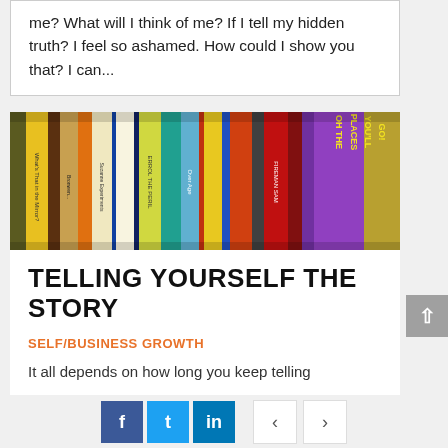me? What will I think of me? If I tell my hidden truth? I feel so ashamed. How could I show you that? I can...
[Figure (photo): A row of colorful children's book spines arranged tightly together, including titles like 'What's That in the Mirror?', 'Errol the Peril', 'FIREMAN SAM', 'OH THE PLACES YOU'LL GO!', and others.]
TELLING YOURSELF THE STORY
SELF/BUSINESS GROWTH
It all depends on how long you keep telling